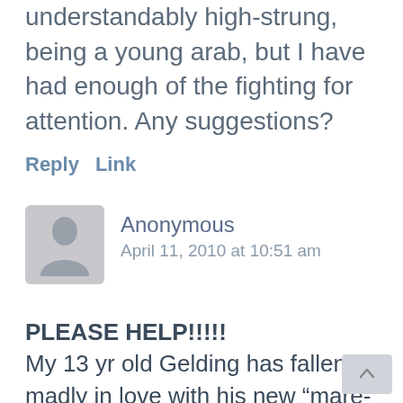understandably high-strung, being a young arab, but I have had enough of the fighting for attention. Any suggestions?
Reply   Link
Anonymous
April 11, 2010 at 10:51 am
PLEASE HELP!!!!!
My 13 yr old Gelding has fallen madly in love with his new “mare-friend.” On Jan 10th we were invited to move up to my friends bard and w her Mare. Where I boarded before we didn’t have much problems. He did and went how I war but now he is completely crazy, I can’t ride